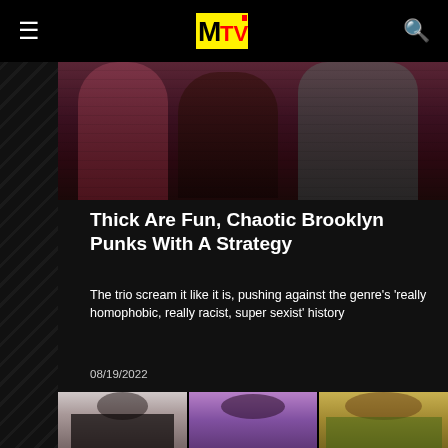MTV
[Figure (photo): Top cropped photo of band members/people in punk/edgy clothing against a dark background]
Thick Are Fun, Chaotic Brooklyn Punks With A Strategy
The trio scream it like it is, pushing against the genre's 'really homophobic, really racist, super sexist' history
08/19/2022
[Figure (photo): Three panel photo of band members: a woman with dark hair holding a rose in black outfit, a person in purple fluffy jacket, and a young man in colorful jacket with sunglasses]